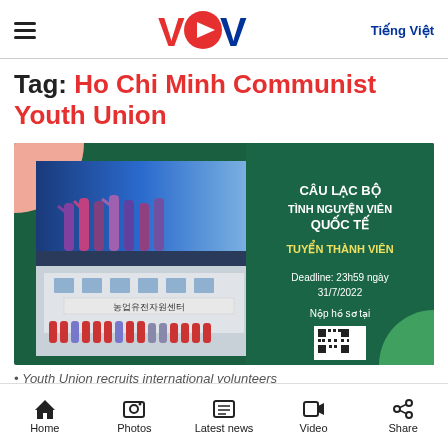VOV — Tiếng Việt
Tag: Ho Chi Minh Communist Youth Union
[Figure (photo): Composite image showing dancers on a stage with blue background (top left), a building with Korean text '농업유전자원센터' and a group of people in red shirts standing in front (bottom left), an orange arc design element (top right), and a green panel with text: CÂU LẠC BỘ TÌNH NGUYỆN VIÊN QUỐC TẾ, TUYỂN THÀNH VIÊN, Deadline: 23h59 ngày 31/7/2022, Nộp hồ sơ tại, and a QR code (right side).]
• Youth Union recruits international volunteers
Home   Photos   Latest news   Video   Share